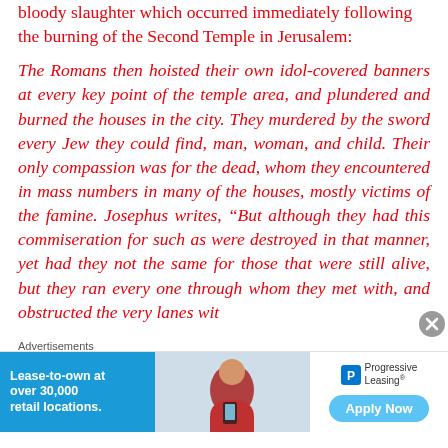bloody slaughter which occurred immediately following the burning of the Second Temple in Jerusalem:
The Romans then hoisted their own idol-covered banners at every key point of the temple area, and plundered and burned the houses in the city. They murdered by the sword every Jew they could find, man, woman, and child. Their only compassion was for the dead, whom they encountered in mass numbers in many of the houses, mostly victims of the famine. Josephus writes, “But although they had this commiseration for such as were destroyed in that manner, yet had they not the same for those that were still alive, but they ran every one through whom they met with, and obstructed the very lanes wit
Advertisements
[Figure (infographic): Advertisement banner: Progressive Leasing - Lease-to-own at over 30,000 retail locations. Apply Now button. Shows a smiling person with a phone.]